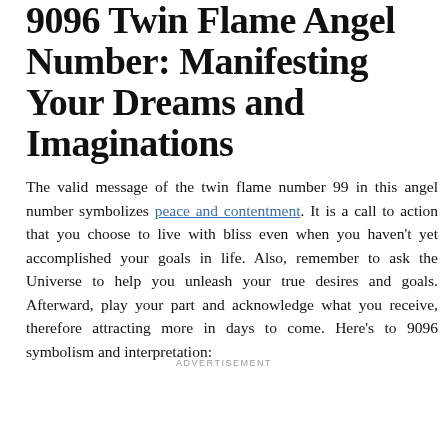9096 Twin Flame Angel Number: Manifesting Your Dreams and Imaginations
The valid message of the twin flame number 99 in this angel number symbolizes peace and contentment. It is a call to action that you choose to live with bliss even when you haven't yet accomplished your goals in life. Also, remember to ask the Universe to help you unleash your true desires and goals. Afterward, play your part and acknowledge what you receive, therefore attracting more in days to come. Here's to 9096 symbolism and interpretation:
ADVERTISEMENT